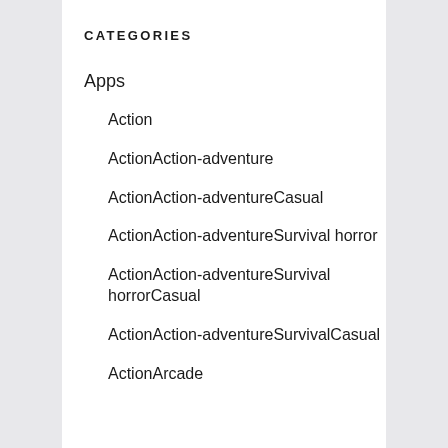CATEGORIES
Apps
Action
ActionAction-adventure
ActionAction-adventureCasual
ActionAction-adventureSurvival horror
ActionAction-adventureSurvival horrorCasual
ActionAction-adventureSurvivalCasual
ActionArcade